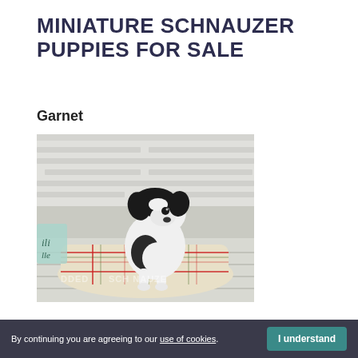MINIATURE SCHNAUZER PUPPIES FOR SALE
Garnet
[Figure (photo): A black and white Miniature Schnauzer puppy sitting on a plaid blanket on a white wooden floor surface, with a light brick wall background. A watermark reading 'DDED...SCHNAUZE' is visible across the image.]
By continuing you are agreeing to our use of cookies. I understand